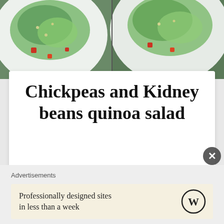[Figure (photo): Two photos of quinoa salad with chickpeas and kidney beans served on white plates, shown side by side]
Chickpeas and Kidney beans quinoa salad
March 16, 2019
A quinoa salad with kidney beans and chickpeas. It is easy salad recipe with all healthy ingredients. Addition of coriander, parsley, mint leaves and lemon gives it a very tangy and refreshing flavor....
Advertisements
Professionally designed sites in less than a week